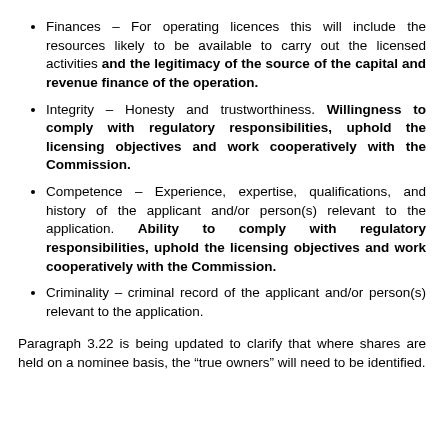Finances – For operating licences this will include the resources likely to be available to carry out the licensed activities and the legitimacy of the source of the capital and revenue finance of the operation.
Integrity – Honesty and trustworthiness. Willingness to comply with regulatory responsibilities, uphold the licensing objectives and work cooperatively with the Commission.
Competence – Experience, expertise, qualifications, and history of the applicant and/or person(s) relevant to the application. Ability to comply with regulatory responsibilities, uphold the licensing objectives and work cooperatively with the Commission.
Criminality – criminal record of the applicant and/or person(s) relevant to the application.
Paragraph 3.22 is being updated to clarify that where shares are held on a nominee basis, the “true owners” will need to be identified.